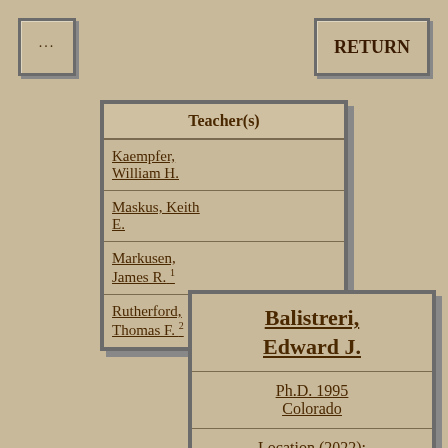[Figure (other): Small button with ellipsis (...) icon, top-left corner]
[Figure (other): RETURN button, top-right corner]
| Teacher(s) |
| --- |
| Kaempfer, William H. |
| Maskus, Keith E. |
| Markusen, James R. 1 |
| Rutherford, Thomas F. 2 |
| Balistreri, Edward J. |
| Ph.D. 1995 Colorado |
| Location (2022): Nebraska |